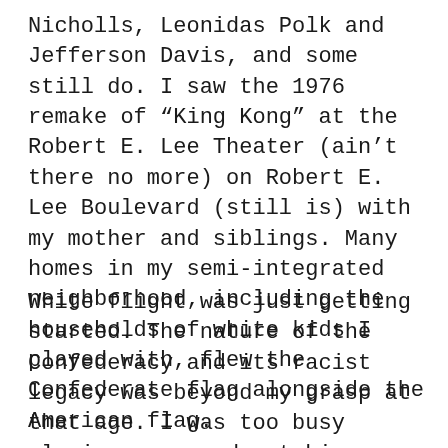Nicholls, Leonidas Polk and Jefferson Davis, and some still do. I saw the 1976 remake of “King Kong” at the Robert E. Lee Theater (ain’t there no more) on Robert E. Lee Boulevard (still is) with my mother and siblings. Many homes in my semi-integrated neighborhood, including the households of white kids I played with, flew the Confederate flag alongside the American flag.
White flight was just getting started. The nature of the Confederacy and its racist legacy was beyond my grasp at that age. I was too busy playing army and watching “Dukes of Hazzard” – just being a kid.
It was...